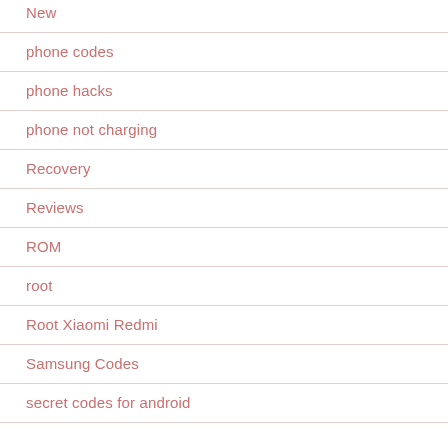New
phone codes
phone hacks
phone not charging
Recovery
Reviews
ROM
root
Root Xiaomi Redmi
Samsung Codes
secret codes for android